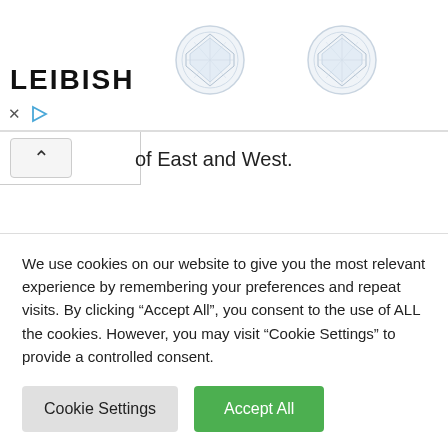[Figure (illustration): LEIBISH advertisement banner with two round diamond stud earrings on white background, with close (x) and play button controls at bottom left]
of East and West.
For Swingers 2nd cocktail providing they have established a playful presenting with their Blossmopolitan (yes Bloss-mo-poli-tan). The cocktail is infused with Skyy Cherry Vodka giving it a sweet but punchy taste. With the Almond and Pomegranate Syrup mix, the mouth-watering consume is
We use cookies on our website to give you the most relevant experience by remembering your preferences and repeat visits. By clicking “Accept All”, you consent to the use of ALL the cookies. However, you may visit “Cookie Settings” to provide a controlled consent.